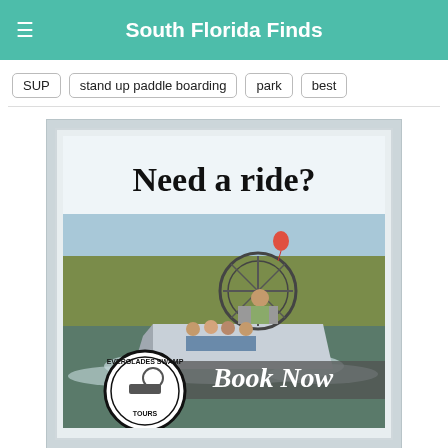South Florida Finds
SUP
stand up paddle boarding
park
best
[Figure (illustration): Everglades Swamp Tours advertisement showing an airboat with passengers in the Everglades. Text reads 'Need a ride?' at the top and 'Book Now' at the bottom with the Everglades Swamp Tours circular logo on the lower left.]